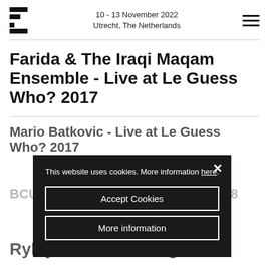10 - 13 November 2022 Utrecht, The Netherlands
Farida & The Iraqi Maqam Ensemble - Live at Le Guess Who? 2017
Mario Batkovic - Live at Le Guess Who? 2017
BCUC - Live at Le Guess Who? 2018
This website uses cookies. More information here.
Accept Cookies
More information
Ryley Walker x Kikagaku